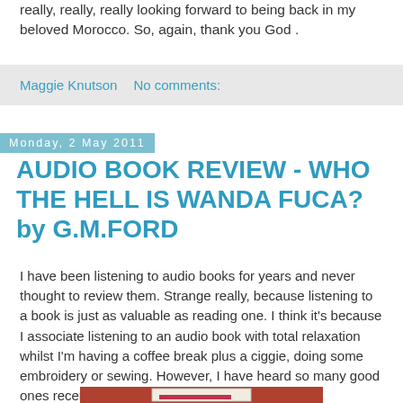really, really, really looking forward to being back in my beloved Morocco. So, again, thank you God .
Maggie Knutson    No comments:
Monday, 2 May 2011
AUDIO BOOK REVIEW - WHO THE HELL IS WANDA FUCA? by G.M.FORD
I have been listening to audio books for years and never thought to review them. Strange really, because listening to a book is just as valuable as reading one. I think it's because I associate listening to an audio book with total relaxation whilst I'm having a coffee break plus a ciggie, doing some embroidery or sewing. However, I have heard so many good ones recently that it has spurred me into action.
[Figure (photo): Photo of a book or audio book item placed on a reddish/brown surface]